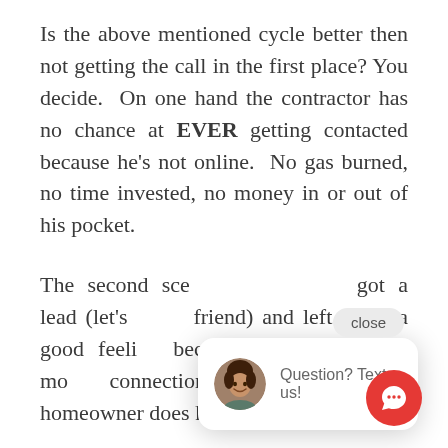Is the above mentioned cycle better then not getting the call in the first place? You decide.  On one hand the contractor has no chance at EVER getting contacted because he's not online.  No gas burned, no time invested, no money in or out of his pocket.
The second sce got a lead (let's friend) and left with a good feeling because of the word of mouth connection.  BUT, then as the homeowner does his own research, he